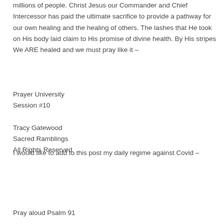millions of people. Christ Jesus our Commander and Chief Intercessor has paid the ultimate sacrifice to provide a pathway for our own healing and the healing of others. The lashes that He took on His body laid claim to His promise of divine health. By His stripes We ARE healed and we must pray like it –
Prayer University
Session #10

Tracy Gatewood
Sacred Ramblings
All Rights Reserved
I would like to add to this post my daily regime against Covid –
Pray aloud Psalm 91